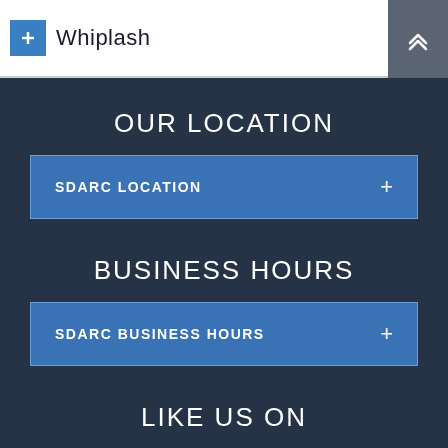Whiplash
OUR LOCATION
SDARC LOCATION +
BUSINESS HOURS
SDARC BUSINESS HOURS +
LIKE US ON